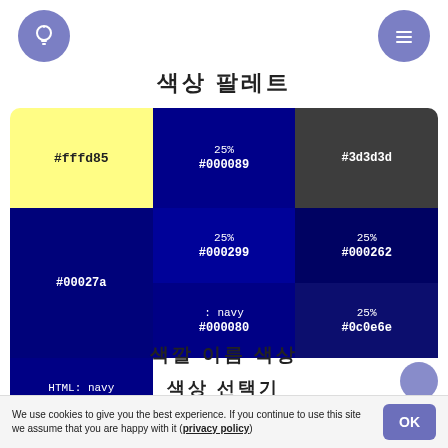[Figure (other): Left navigation icon: lightbulb in purple circle]
[Figure (other): Right navigation icon: menu in purple circle]
색상 팔레트
| Col1 | Col2 | Col3 |
| --- | --- | --- |
| #fffd85 | 25%
#000089 | #3d3d3d |
| 25%
#000299 | #00027a | 25%
#000262 |
| : navy
#000080 | 25%
#0c0e6e | HTML: navy
#000080 |
색깔 이름 색상
색상 선택기
We use cookies to give you the best experience. If you continue to use this site we assume that you are happy with it (privacy policy)